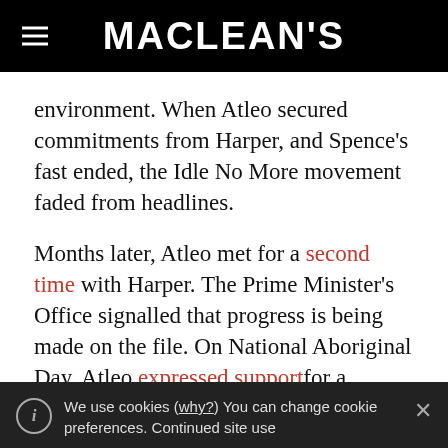MACLEAN'S
environment. When Atleo secured commitments from Harper, and Spence's fast ended, the Idle No More movement faded from headlines.
Months later, Atleo met for a second time with Harper. The Prime Minister's Office signalled that progress is being made on the file. On National Aboriginal Day, Atleo expressed support for a renewed series of
We use cookies (why?) You can change cookie preferences. Continued site use